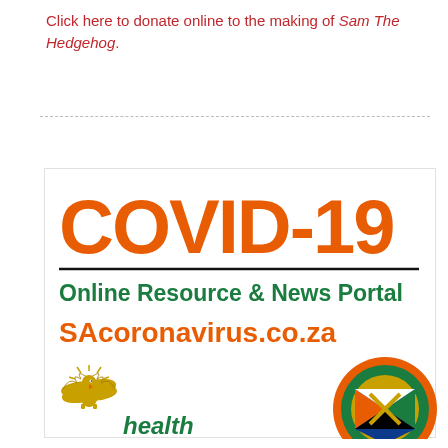Click here to donate online to the making of Sam The Hedgehog.
[Figure (logo): COVID-19 Online Resource & News Portal banner with SAcoronavirus.co.za URL, Department of Health eagle logo, and South African government roundel logo]
Online Resource & News Portal
SAcoronavirus.co.za